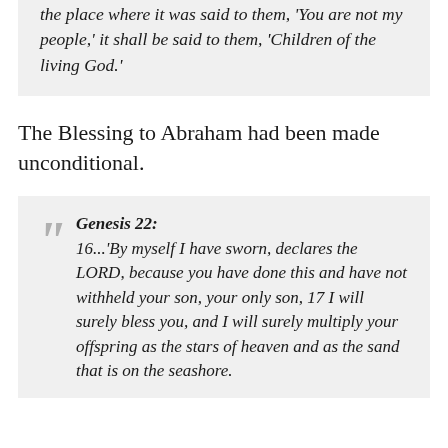the place where it was said to them, 'You are not my people,' it shall be said to them, 'Children of the living God.'
The Blessing to Abraham had been made unconditional.
Genesis 22: 16...'By myself I have sworn, declares the LORD, because you have done this and have not withheld your son, your only son, 17 I will surely bless you, and I will surely multiply your offspring as the stars of heaven and as the sand that is on the seashore.